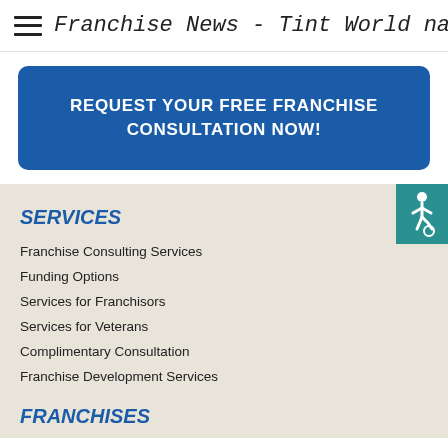Franchise News - Tint World named a
[Figure (infographic): Blue rounded-rectangle CTA button with white bold text: REQUEST YOUR FREE FRANCHISE CONSULTATION NOW!]
[Figure (illustration): Teal square with white wheelchair accessibility icon]
SERVICES
Franchise Consulting Services
Funding Options
Services for Franchisors
Services for Veterans
Complimentary Consultation
Franchise Development Services
FRANCHISES